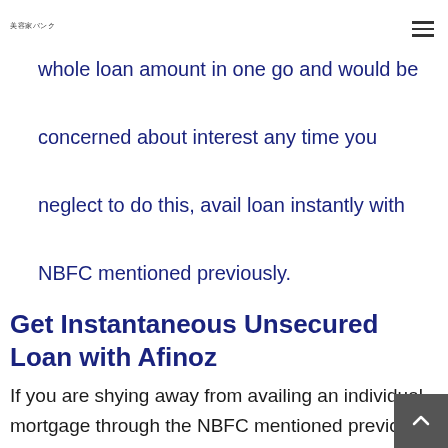美容家バンク
whole loan amount in one go and would be concerned about interest any time you neglect to do this, avail loan instantly with NBFC mentioned previously.
Get Instantaneous Unsecured Loan with Afinoz
If you are shying away from availing an individual mortgage through the NBFC mentioned previously, you are able to u